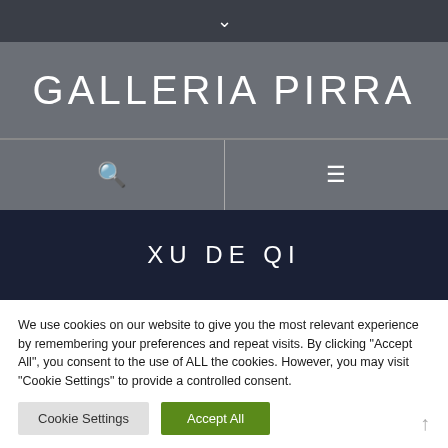∨
[Figure (logo): Galleria Pirra logo in white stylized text on grey background]
🔍  ☰
XU DE QI
We use cookies on our website to give you the most relevant experience by remembering your preferences and repeat visits. By clicking "Accept All", you consent to the use of ALL the cookies. However, you may visit "Cookie Settings" to provide a controlled consent.
Cookie Settings  Accept All